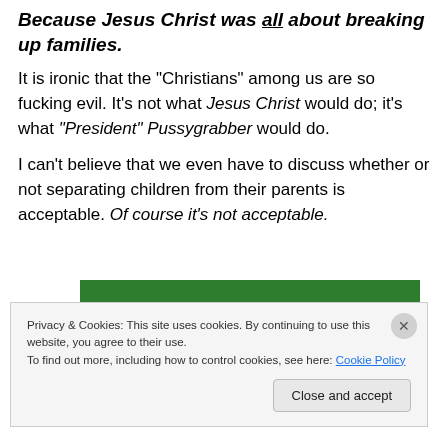Because Jesus Christ was all about breaking up families.
It is ironic that the "Christians" among us are so fucking evil. It's not what Jesus Christ would do; it's what "President" Pussygrabber would do.
I can't believe that we even have to discuss whether or not separating children from their parents is acceptable. Of course it's not acceptable.
[Figure (screenshot): Green WordPress site banner with white italic underlined text partially visible]
Privacy & Cookies: This site uses cookies. By continuing to use this website, you agree to their use.
To find out more, including how to control cookies, see here: Cookie Policy